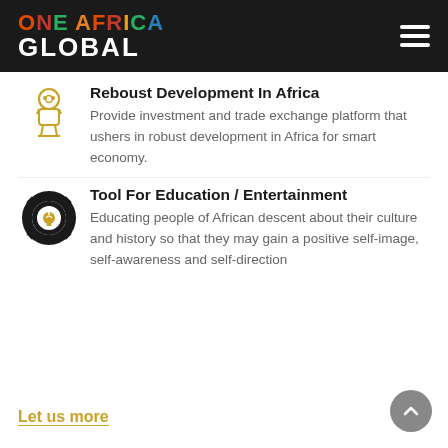ONE AFRICA GLOBAL
Reboust Development In Africa
Provide investment and trade exchange platform that ushers in robust development in Africa for smart economy.
Tool For Education / Entertainment
Educating people of African descent about their culture and history so that they may gain a positive self-image, self-awareness and self-direction
Let us more